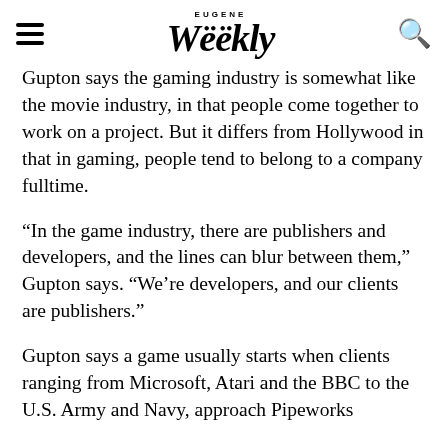EUGENE Weekly
Gupton says the gaming industry is somewhat like the movie industry, in that people come together to work on a project. But it differs from Hollywood in that in gaming, people tend to belong to a company fulltime.
“In the game industry, there are publishers and developers, and the lines can blur between them,” Gupton says. “We’re developers, and our clients are publishers.”
Gupton says a game usually starts when clients ranging from Microsoft, Atari and the BBC to the U.S. Army and Navy, approach Pipeworks